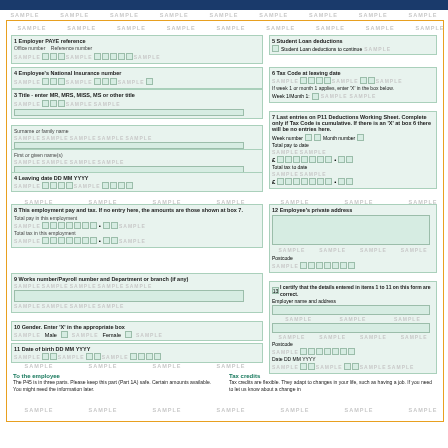SAMPLE SAMPLE SAMPLE SAMPLE SAMPLE SAMPLE SAMPLE SAMPLE
1  Employer PAYE reference
   Office number   Reference number
4  Employee's National Insurance number
3  Title - enter MR, MRS, MISS, MS or other title
Surname or family name
First or given name(s)
4  Leaving date DD MM YYYY
5  Student Loan deductions
   Student Loan deductions to continue
6  Tax Code at leaving date
   If week 1 or month 1 applies, enter 'X' in the box below.
   Week 1/Month 1:
7  Last entries on P11 Deductions Working Sheet. Complete only if Tax Code is cumulative. If there is an 'X' at box 6 there will be no entries here.
   Week number   Month number
   Total pay to date
   Total tax to date
8  This employment pay and tax. If no entry here, the amounts are those shown at box 7.
   Total pay in this employment
   Total tax in this employment
9  Works number/Payroll number and Department or branch (if any)
10  Gender. Enter 'X' in the appropriate box
   Male   Female
11  Date of birth DD MM YYYY
12  Employee's private address
   Postcode
13  I certify that the details entered in items 1 to 11 on this form are correct.
   Employer name and address
   Postcode
   Date DD MM YYYY
To the employee
The P45 is in three parts. Please keep this part (Part 1A) safe. Certain amounts available. You might need the information later.
Tax credits
Tax credits are flexible. They adapt to changes in your life, such as having a job. If you need to let us know about a change in